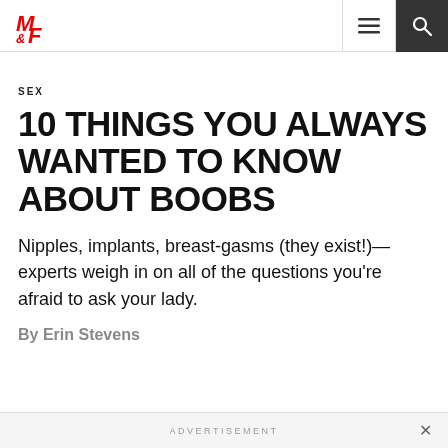M&F
SEX
10 THINGS YOU ALWAYS WANTED TO KNOW ABOUT BOOBS
Nipples, implants, breast-gasms (they exist!)—experts weigh in on all of the questions you're afraid to ask your lady.
By Erin Stevens
ADVERTISEMENT